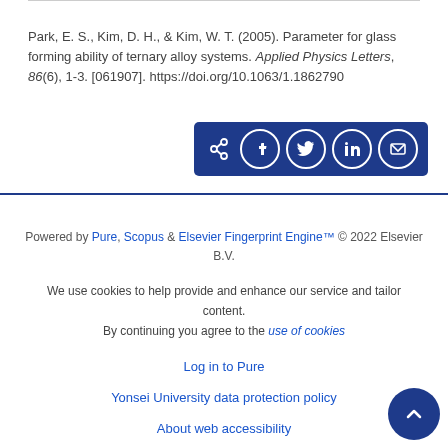Park, E. S., Kim, D. H., & Kim, W. T. (2005). Parameter for glass forming ability of ternary alloy systems. Applied Physics Letters, 86(6), 1-3. [061907]. https://doi.org/10.1063/1.1862790
[Figure (other): Share bar with social media icons: share, Facebook, Twitter, LinkedIn, email]
Powered by Pure, Scopus & Elsevier Fingerprint Engine™ © 2022 Elsevier B.V. We use cookies to help provide and enhance our service and tailor content. By continuing you agree to the use of cookies. Log in to Pure. Yonsei University data protection policy. About web accessibility.